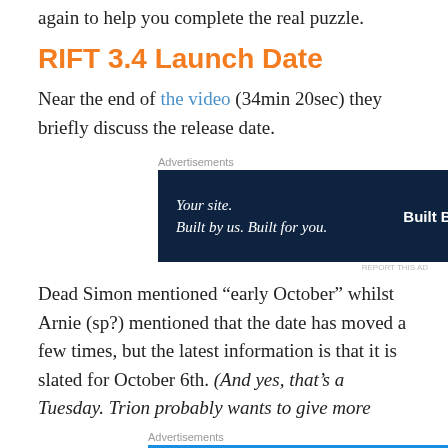again to help you complete the real puzzle.
RIFT 3.4 Launch Date
Near the end of the video (34min 20sec) they briefly discuss the release date.
[Figure (other): WordPress ad: Your site. Built by us. Built for you. Built By W]
Dead Simon mentioned “early October” whilst Arnie (sp?) mentioned that the date has moved a few times, but the latest information is that it is slated for October 6th. (And yes, that’s a Tuesday. Trion probably wants to give more
[Figure (other): Pressable ad: Need Speed? Get Pressable]